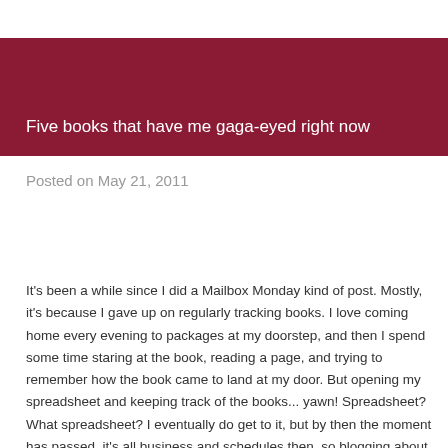Five books that have me gaga-eyed right now
Posted on May 21, 2011
It's been a while since I did a Mailbox Monday kind of post. Mostly, it's because I gave up on regularly tracking books. I love coming home every evening to packages at my doorstep, and then I spend some time staring at the book, reading a page, and trying to remember how the book came to land at my door. But opening my spreadsheet and keeping track of the books... yawn! Spreadsheet? What spreadsheet? I eventually do get to it, but by then the moment has passed, it's all business and schedules then, so blogging about the books doesn't come to mind. In addition, an overdose of ARC titles sends me off...